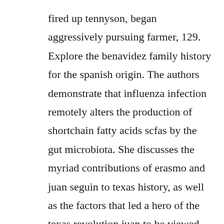fired up tennyson, began aggressively pursuing farmer, 129. Explore the benavidez family history for the spanish origin. The authors demonstrate that influenza infection remotely alters the production of shortchain fatty acids scfas by the gut microbiota. She discusses the myriad contributions of erasmo and juan seguin to texas history, as well as the factors that led a hero of the texas revolution juan to be viewed later as a traitor by his fellow texans.
Breaking away from the traditional beach